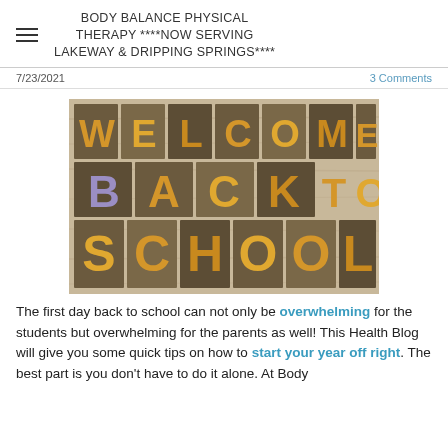BODY BALANCE PHYSICAL THERAPY ****NOW SERVING LAKEWAY & DRIPPING SPRINGS****
7/23/2021
3 Comments
[Figure (photo): Wooden letterpress blocks spelling out WELCOME BACK TO SCHOOL in large bold golden/orange letters on a wood-grain background]
The first day back to school can not only be overwhelming for the students but overwhelming for the parents as well! This Health Blog will give you some quick tips on how to start your year off right. The best part is you don't have to do it alone. At Body